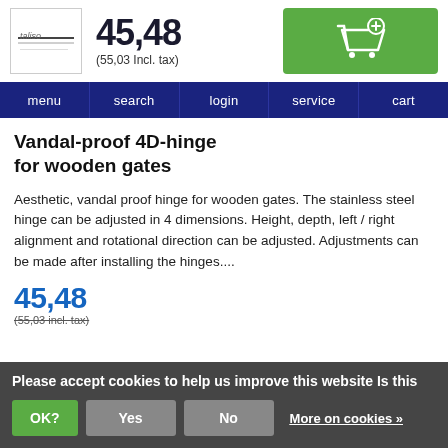[Figure (logo): Store logo placeholder with small text]
45,48
(55,03 Incl. tax)
[Figure (other): Green add to cart button with shopping cart icon]
menu | search | login | service | cart
Vandal-proof 4D-hinge for wooden gates
Aesthetic, vandal proof hinge for wooden gates. The stainless steel hinge can be adjusted in 4 dimensions. Height, depth, left / right alignment and rotational direction can be adjusted. Adjustments can be made after installing the hinges....
45,48
(55,03 incl. tax)
Please accept cookies to help us improve this website Is this OK? Yes No More on cookies »